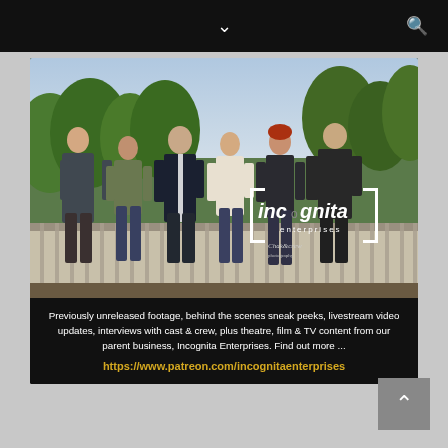[Figure (photo): Group photo of six people (cast and crew) standing on a decorative bridge railing outdoors with trees and city skyline in background. Incognita Enterprises logo overlay on image.]
Previously unreleased footage, behind the scenes sneak peeks, livestream video updates, interviews with cast & crew, plus theatre, film & TV content from our parent business, Incognita Enterprises. Find out more ...
https://www.patreon.com/incognitaenterprises